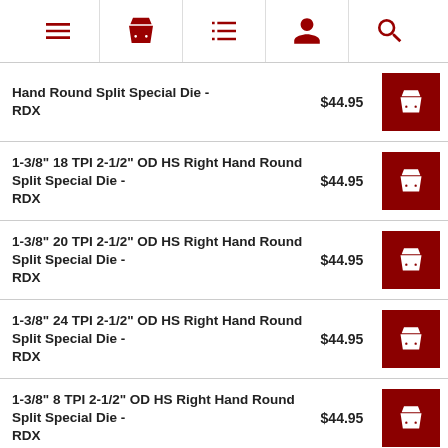[Figure (screenshot): Navigation bar with menu, basket, list, person, and search icons in dark red]
Hand Round Split Special Die - RDX  $44.95
1-3/8" 18 TPI 2-1/2" OD HS Right Hand Round Split Special Die - RDX  $44.95
1-3/8" 20 TPI 2-1/2" OD HS Right Hand Round Split Special Die - RDX  $44.95
1-3/8" 24 TPI 2-1/2" OD HS Right Hand Round Split Special Die - RDX  $44.95
1-3/8" 8 TPI 2-1/2" OD HS Right Hand Round Split Special Die - RDX  $44.95
1-5/16" 12 TPI 2-1/2" OD HS Right Hand Round Split Special Die - RDX  $44.95
1-5/16" 16 TPI 2-1/2" OD HS Right...